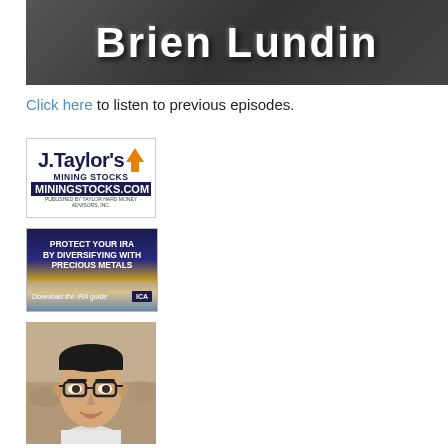[Figure (photo): Banner image with 'Brien Lundin' text in large white letters over a dark background showing a person in a suit with tie]
Click here to listen to previous episodes.
[Figure (logo): J. Taylor's MininingStocks.com advertisement - Published by Taylor Hard Money Advisors, Inc.]
[Figure (illustration): IRA advertisement: 'Protect your IRA by diversifying with precious metals - Download the IRA guide ICA']
[Figure (photo): Photo of an Asian man wearing glasses, outdoors with rocky background]